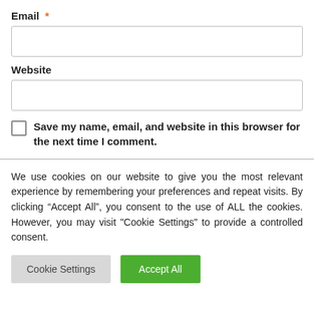Email *
Website
Save my name, email, and website in this browser for the next time I comment.
We use cookies on our website to give you the most relevant experience by remembering your preferences and repeat visits. By clicking “Accept All”, you consent to the use of ALL the cookies. However, you may visit "Cookie Settings" to provide a controlled consent.
Cookie Settings
Accept All